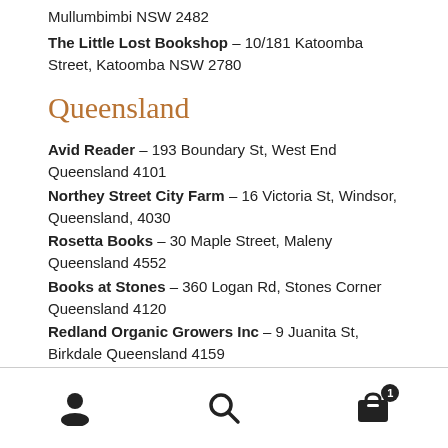Mullumbimbi NSW 2482
The Little Lost Bookshop – 10/181 Katoomba Street, Katoomba NSW 2780
Queensland
Avid Reader – 193 Boundary St, West End Queensland 4101
Northey Street City Farm – 16 Victoria St, Windsor, Queensland, 4030
Rosetta Books – 30 Maple Street, Maleny Queensland 4552
Books at Stones – 360 Logan Rd, Stones Corner Queensland 4120
Redland Organic Growers Inc – 9 Juanita St, Birkdale Queensland 4159
Navigation bar with user, search, and cart icons